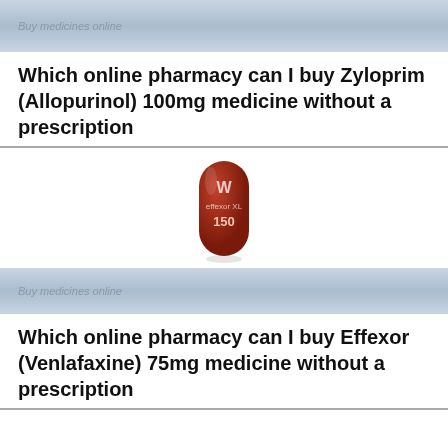Buy medicines online
Which online pharmacy can I buy Zyloprim (Allopurinol) 100mg medicine without a prescription
[Figure (photo): A dark red/maroon capsule pill with text 'W effexor XL 150' printed on it, shown vertically oriented against white background]
Buy medicines online
Which online pharmacy can I buy Effexor (Venlafaxine) 75mg medicine without a prescription